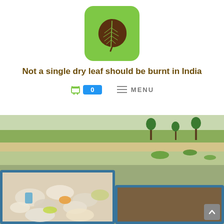[Figure (logo): Green rounded square logo with a brown leaf silhouette in the center]
Not a single dry leaf should be burnt in India
[Figure (infographic): Navigation bar with a green shopping bag cart icon, blue badge showing 0, and a hamburger menu icon with MENU text]
[Figure (photo): Outdoor photo showing blue concrete composting or waste bins filled with plastic bags and garbage, with open land and green vegetation in the background]